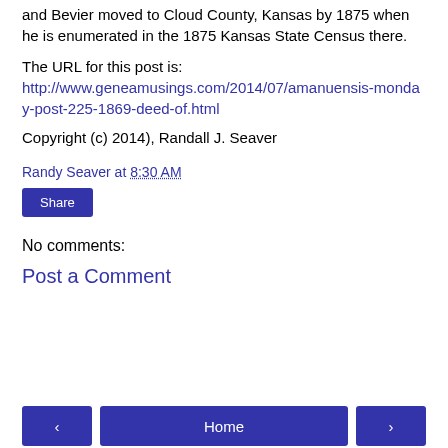and Bevier moved to Cloud County, Kansas by 1875 when he is enumerated in the 1875 Kansas State Census there.
The URL for this post is: http://www.geneamusings.com/2014/07/amanuensis-monday-post-225-1869-deed-of.html
Copyright (c) 2014), Randall J. Seaver
Randy Seaver at 8:30 AM
Share
No comments:
Post a Comment
‹  Home  ›